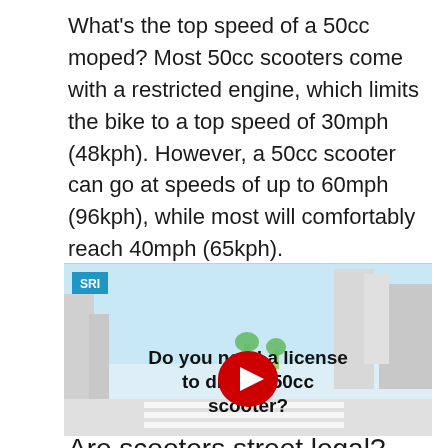What's the top speed of a 50cc moped? Most 50cc scooters come with a restricted engine, which limits the bike to a top speed of 30mph (48kph). However, a 50cc scooter can go at speeds of up to 60mph (96kph), while most will comfortably reach 40mph (65kph).
[Figure (screenshot): YouTube video thumbnail showing an animated city street scene with text overlay 'Do you need a license to drive a 50cc scooter?' and a YouTube play button in the center. SRI logo badge in top left corner.]
Are scooters street legal?